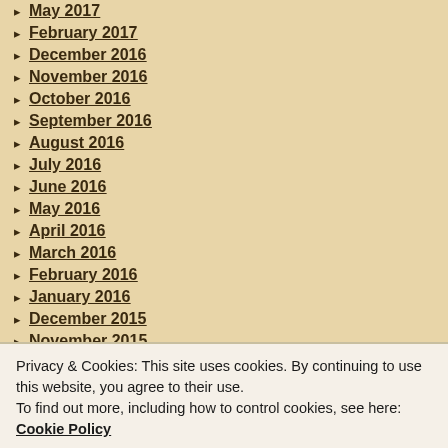May 2017
February 2017
December 2016
November 2016
October 2016
September 2016
August 2016
July 2016
June 2016
May 2016
April 2016
March 2016
February 2016
January 2016
December 2015
November 2015
October 2015
September 2015
Privacy & Cookies: This site uses cookies. By continuing to use this website, you agree to their use.
To find out more, including how to control cookies, see here: Cookie Policy
December 2014